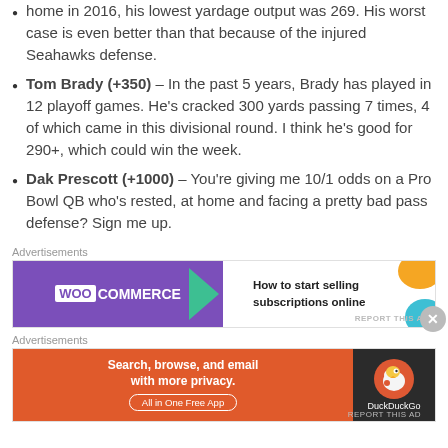home in 2016, his lowest yardage output was 269. His worst case is even better than that because of the injured Seahawks defense.
Tom Brady (+350) – In the past 5 years, Brady has played in 12 playoff games. He's cracked 300 yards passing 7 times, 4 of which came in this divisional round. I think he's good for 290+, which could win the week.
Dak Prescott (+1000) – You're giving me 10/1 odds on a Pro Bowl QB who's rested, at home and facing a pretty bad pass defense? Sign me up.
Advertisements
[Figure (illustration): WooCommerce advertisement banner: purple left panel with WooCommerce logo and green arrow, white right panel with text 'How to start selling subscriptions online' and orange/teal blobs]
Advertisements
[Figure (illustration): DuckDuckGo advertisement banner: orange left panel with text 'Search, browse, and email with more privacy. All in One Free App', dark right panel with DuckDuckGo logo]